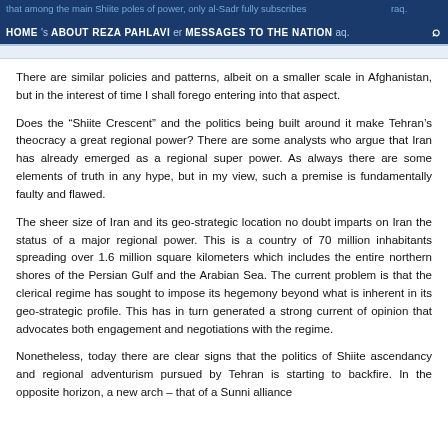HOME | ABOUT REZA PAHLAVI | MESSAGES TO THE NATION
There are similar policies and patterns, albeit on a smaller scale in Afghanistan, but in the interest of time I shall forego entering into that aspect.
Does the “Shiite Crescent” and the politics being built around it make Tehran’s theocracy a great regional power? There are some analysts who argue that Iran has already emerged as a regional super power. As always there are some elements of truth in any hype, but in my view, such a premise is fundamentally faulty and flawed.
The sheer size of Iran and its geo-strategic location no doubt imparts on Iran the status of a major regional power. This is a country of 70 million inhabitants spreading over 1.6 million square kilometers which includes the entire northern shores of the Persian Gulf and the Arabian Sea. The current problem is that the clerical regime has sought to impose its hegemony beyond what is inherent in its geo-strategic profile. This has in turn generated a strong current of opinion that advocates both engagement and negotiations with the regime.
Nonetheless, today there are clear signs that the politics of Shiite ascendancy and regional adventurism pursued by Tehran is starting to backfire. In the opposite horizon, a new arch – that of a Sunni alliance